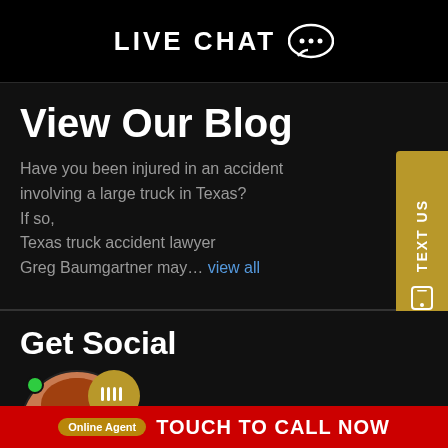LIVE CHAT
View Our Blog
Have you been injured in an accident involving a large truck in Texas? If so, Texas truck accident lawyer Greg Baumgartner may… view all
Get Social
[Figure (illustration): Avatar of a woman with red/auburn hair in a circle, green online dot, gold chat bubble icon]
Online Agent   TOUCH TO CALL NOW